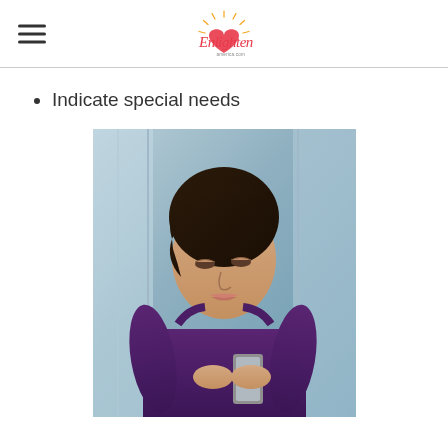Enlighten [logo]
Indicate special needs
[Figure (photo): Woman with short dark hair wearing a purple sleeveless top, looking down at a smartphone she is holding with both hands. Background appears to be an indoor corridor with glass walls.]